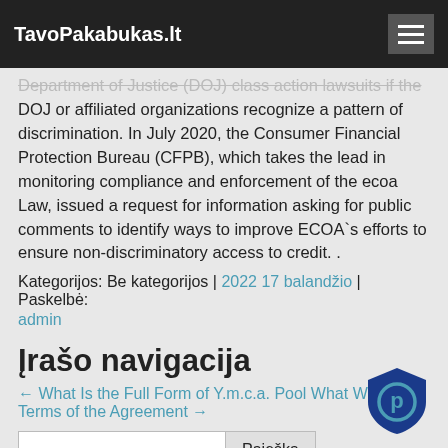TavoPakabukas.lt
Department of Justice (DOJ) class action lawsuits if the DOJ or affiliated organizations recognize a pattern of discrimination. In July 2020, the Consumer Financial Protection Bureau (CFPB), which takes the lead in monitoring compliance and enforcement of the ecoa Law, issued a request for information asking for public comments to identify ways to improve ECOA`s efforts to ensure non-discriminatory access to credit. .
Kategorijos: Be kategorijos | 2022 17 balandžio | Paskelbė: admin
Įrašo navigacija
← What Is the Full Form of Y.m.c.a. Pool What Were the Terms of the Agreement →
Paieška
Naujausi įrašai